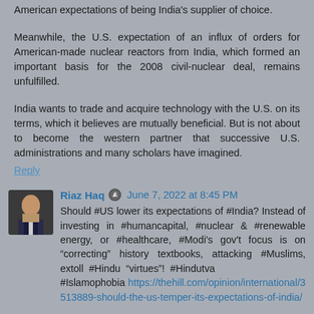American expectations of being India's supplier of choice.
Meanwhile, the U.S. expectation of an influx of orders for American-made nuclear reactors from India, which formed an important basis for the 2008 civil-nuclear deal, remains unfulfilled.
India wants to trade and acquire technology with the U.S. on its terms, which it believes are mutually beneficial. But is not about to become the western partner that successive U.S. administrations and many scholars have imagined.
Reply
Riaz Haq  June 7, 2022 at 8:45 PM
Should #US lower its expectations of #India? Instead of investing in #humancapital, #nuclear & #renewable energy, or #healthcare, #Modi's gov't focus is on "correcting" history textbooks, attacking #Muslims, extoll #Hindu "virtues"! #Hindutva #Islamophobia https://thehill.com/opinion/international/3513889-should-the-us-temper-its-expectations-of-india/